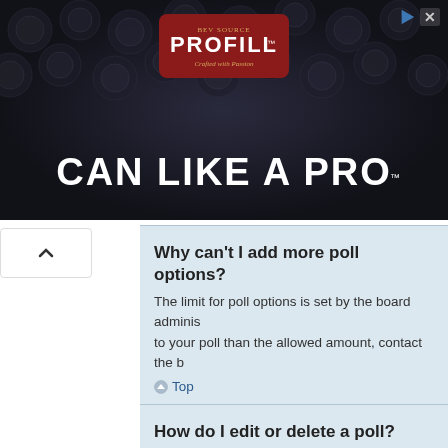[Figure (photo): Advertisement banner for PROFILL product with dark background showing cans. Text reads 'CAN LIKE A PRO' with a logo on a red badge.]
Why can't I add more poll options?
The limit for poll options is set by the board adminis to your poll than the allowed amount, contact the b
Top
How do I edit or delete a poll?
As with posts, polls can only be edited by the origin edit a poll, click to edit the first post in the topic; this one has cast a vote, users can delete the poll or ec already placed votes, only moderators or administr poll's options from being changed mid-way through
Top
Why can't I access a forum?
Some forums may be limited to certain users or gro